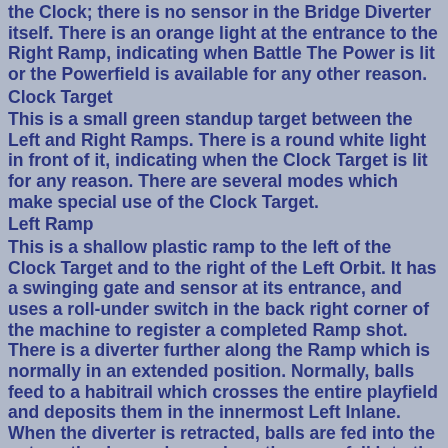the Clock; there is no sensor in the Bridge Diverter itself. There is an orange light at the entrance to the Right Ramp, indicating when Battle The Power is lit or the Powerfield is available for any other reason.
Clock Target
This is a small green standup target between the Left and Right Ramps. There is a round white light in front of it, indicating when the Clock Target is lit for any reason. There are several modes which make special use of the Clock Target.
Left Ramp
This is a shallow plastic ramp to the left of the Clock Target and to the right of the Left Orbit. It has a swinging gate and sensor at its entrance, and uses a roll-under switch in the back right corner of the machine to register a completed Ramp shot. There is a diverter further along the Ramp which is normally in an extended position. Normally, balls feed to a habitrail which crosses the entire playfield and deposits them in the innermost Left Inlane. When the diverter is retracted, balls are fed into the automatic plunger lane, where they may fall into the automatic plunger or to the